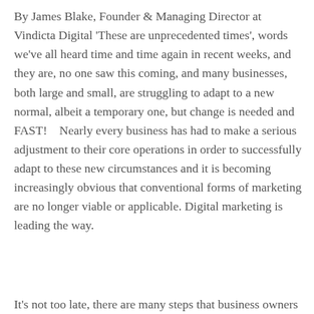By James Blake, Founder & Managing Director at Vindicta Digital 'These are unprecedented times', words we've all heard time and time again in recent weeks, and they are, no one saw this coming, and many businesses, both large and small, are struggling to adapt to a new normal, albeit a temporary one, but change is needed and FAST!    Nearly every business has had to make a serious adjustment to their core operations in order to successfully adapt to these new circumstances and it is becoming increasingly obvious that conventional forms of marketing are no longer viable or applicable. Digital marketing is leading the way.
It's not too late, there are many steps that business owners